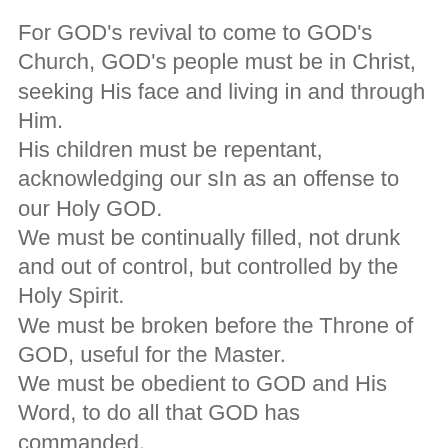For GOD's revival to come to GOD's Church, GOD's people must be in Christ, seeking His face and living in and through Him. His children must be repentant, acknowledging our sIn as an offense to our Holy GOD. We must be continually filled, not drunk and out of control, but controlled by the Holy Spirit. We must be broken before the Throne of GOD, useful for the Master. We must be obedient to GOD and His Word, to do all that GOD has commanded.